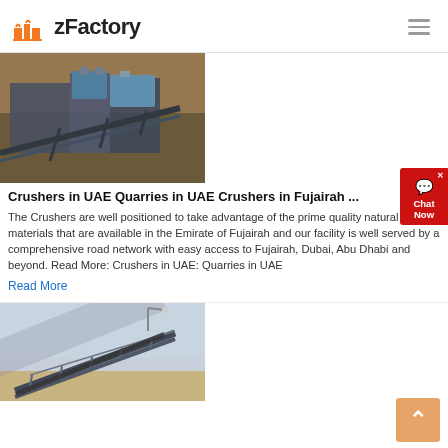zFactory
[Figure (photo): Industrial crusher/conveyor machinery at a quarry site]
Crushers in UAE Quarries in UAE Crushers in Fujairah ...
The Crushers are well positioned to take advantage of the prime quality natural raw materials that are available in the Emirate of Fujairah and our facility is well served by a comprehensive road network with easy access to Fujairah, Dubai, Abu Dhabi and beyond. Read More: Crushers in UAE: Quarries in UAE
Read More
[Figure (photo): Conveyor belt at an industrial quarry/mining site]